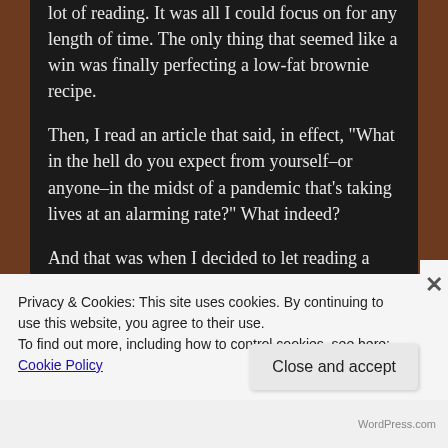lot of reading. It was all I could focus on for any length of time. The only thing that seemed like a win was finally perfecting a low-fat brownie recipe.
Then, I read an article that said, in effect, "What in the hell do you expect from yourself–or anyone–in the midst of a pandemic that's taking lives at an alarming rate?" What indeed?

And that was when I decided to let reading a favorite author, popping a dark chocolate truffle occasionally, and surrendering to the rhythm of the days–as numbingly  repetitious as they have become–be sufficient for now. Perhaps the next seventy-five days will be more productive. At least, a more relaxed attitude
Privacy & Cookies: This site uses cookies. By continuing to use this website, you agree to their use.
To find out more, including how to control cookies, see here: Cookie Policy
Close and accept